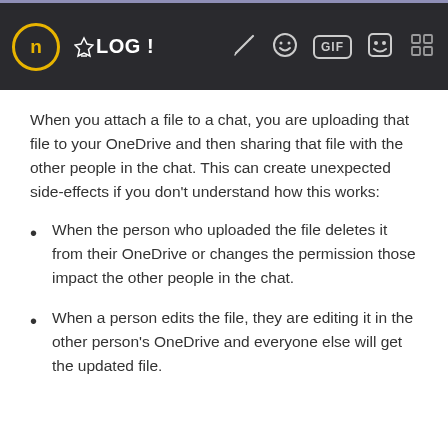[Figure (screenshot): Dark toolbar/navigation bar from a blog or messaging app showing a circular 'n' icon with yellow border, blog icon with '!', pencil icon, smiley face icon, GIF button, sticker icon, and a grid/keyboard icon on a dark background.]
When you attach a file to a chat, you are uploading that file to your OneDrive and then sharing that file with the other people in the chat. This can create unexpected side-effects if you don't understand how this works:
When the person who uploaded the file deletes it from their OneDrive or changes the permission those impact the other people in the chat.
When a person edits the file, they are editing it in the other person's OneDrive and everyone else will get the updated file.